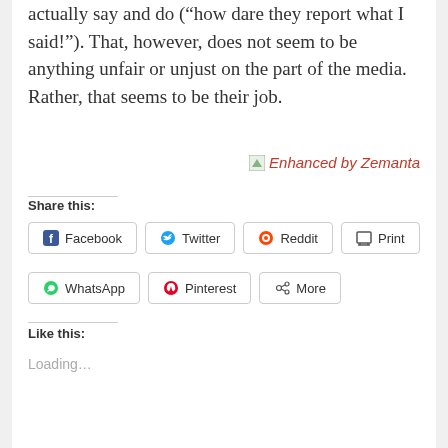actually say and do (“how dare they report what I said!”). That, however, does not seem to be anything unfair or unjust on the part of the media. Rather, that seems to be their job.
[Figure (logo): Enhanced by Zemanta badge/logo with small image icon and red italic text]
Share this:
Facebook
Twitter
Reddit
Print
WhatsApp
Pinterest
More
Like this:
Loading…